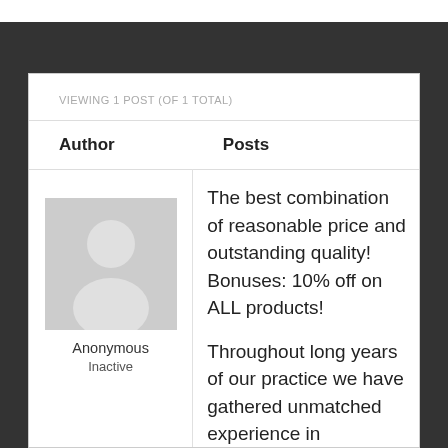VIEWING 1 POST (OF 1 TOTAL)
| Author | Posts |
| --- | --- |
| Anonymous
Inactive | The best combination of reasonable price and outstanding quality! Bonuses: 10% off on ALL products!

Throughout long years of our practice we have gathered unmatched experience in pharmacy! |
[Figure (illustration): Generic anonymous user avatar — grey silhouette of a person on a light grey background]
Anonymous
Inactive
The best combination of reasonable price and outstanding quality! Bonuses: 10% off on ALL products!
Throughout long years of our practice we have gathered unmatched experience in pharmacy!